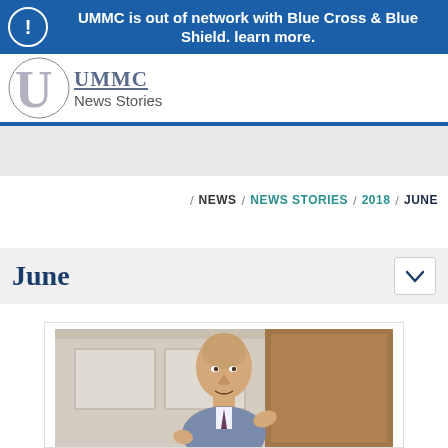UMMC is out of network with Blue Cross & Blue Shield. learn more.
[Figure (screenshot): UMMC logo with 'News Stories' text and site navigation header]
/ NEWS / NEWS STORIES / 2018 / JUNE
June
[Figure (photo): Middle-aged bald man in a suit speaking or presenting, gesturing with hands, in an indoor setting with wooden door/wall in background]